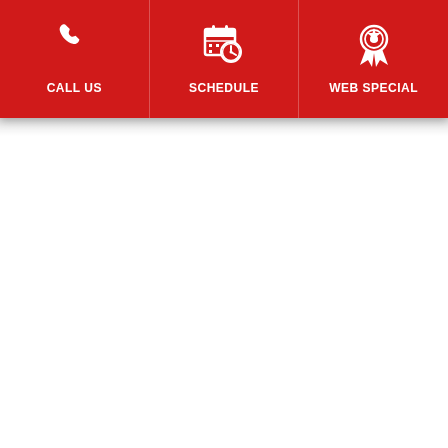[Figure (infographic): Red navigation bar with three action buttons: CALL US (phone icon), SCHEDULE (calendar with clock icon), WEB SPECIAL (award/badge icon). White icons and white bold uppercase text on red background.]